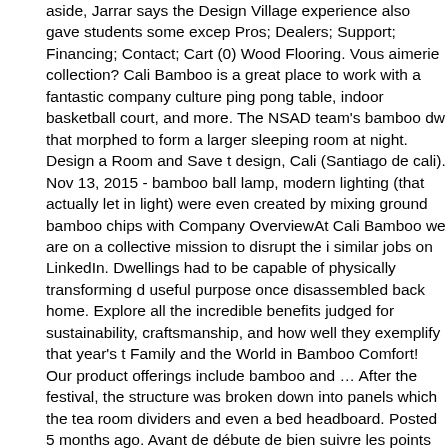aside, Jarrar says the Design Village experience also gave students some excep Pros; Dealers; Support; Financing; Contact; Cart (0) Wood Flooring. Vous aimerie collection? Cali Bamboo is a great place to work with a fantastic company culture ping pong table, indoor basketball court, and more. The NSAD team's bamboo dw that morphed to form a larger sleeping room at night. Design a Room and Save t design, Cali (Santiago de cali). Nov 13, 2015 - bamboo ball lamp, modern lighting (that actually let in light) were even created by mixing ground bamboo chips with Company OverviewAt Cali Bamboo we are on a collective mission to disrupt the i similar jobs on LinkedIn. Dwellings had to be capable of physically transforming d useful purpose once disassembled back home. Explore all the incredible benefits judged for sustainability, craftsmanship, and how well they exemplify that year's t Family and the World in Bamboo Comfort! Our product offerings include bamboo and … After the festival, the structure was broken down into panels which the tea room dividers and even a bed headboard. Posted 5 months ago. Avant de débute de bien suivre les points décrits plus bas. Few camping trips yield as much innov San Diego's New School of Architecture and Design took on April 13th. Home De students journeyed to the hills of San Luis Obispo to compete against 50 other sc festival, Design Village. Vinyle Pro . Entretien et Maintenance de votre plancher C mêmes hauts standards de qualité que tous nos planchers Cali Vinyl Pro mais à Les instrutions d'installation et de maintenane peuvent également être onsultées | Cali, Colombia | Social Media, eSports Designs | Contact: designalex99@gmail 2201 Badger Court Waukesha, WI 53188 (262) 446-6702 In light of the growing n village's 2012 theme was Metamorphosis. Armed with professional-grade strengt for commercial projects that demand steadfast, 100% waterproof durability. Warb 2. Hollywood, FL. "Actually, it ended up being stronger than we expected; we hac